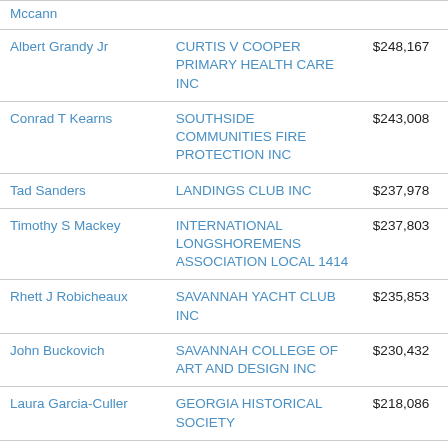| Mccann |  |  |
| Albert Grandy Jr | CURTIS V COOPER PRIMARY HEALTH CARE INC | $248,167 |
| Conrad T Kearns | SOUTHSIDE COMMUNITIES FIRE PROTECTION INC | $243,008 |
| Tad Sanders | LANDINGS CLUB INC | $237,978 |
| Timothy S Mackey | INTERNATIONAL LONGSHOREMENS ASSOCIATION LOCAL 1414 | $237,803 |
| Rhett J Robicheaux | SAVANNAH YACHT CLUB INC | $235,853 |
| John Buckovich | SAVANNAH COLLEGE OF ART AND DESIGN INC | $230,432 |
| Laura Garcia-Culler | GEORGIA HISTORICAL SOCIETY | $218,086 |
| Robin | TELFAIR MUSEUM OF ART | $212,585 |